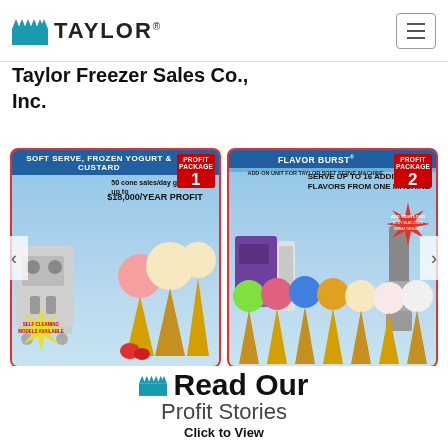[Figure (logo): Taylor brand logo with teal crown/wave graphic and TAYLOR text]
Taylor Freezer Sales Co., Inc.
[Figure (illustration): Promotional carousel showing two profit packages: Package 1 - Soft Serve, Frozen Yogurt & Custard, 50 cone sales/day generates up to $18,000/YEAR PROFIT; Package 2 - Flavor Burst, Add-on unit for Taylor soft serve machine, Serve up to 16 additional flavors from one machine. Both with images of soft serve machines and ice cream cones.]
Read Our
Profit Stories
Click to View